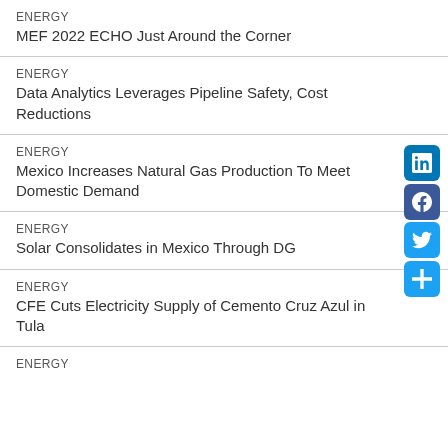ENERGY
MEF 2022 ECHO Just Around the Corner
ENERGY
Data Analytics Leverages Pipeline Safety, Cost Reductions
ENERGY
Mexico Increases Natural Gas Production To Meet Domestic Demand
ENERGY
Solar Consolidates in Mexico Through DG
ENERGY
CFE Cuts Electricity Supply of Cemento Cruz Azul in Tula
ENERGY